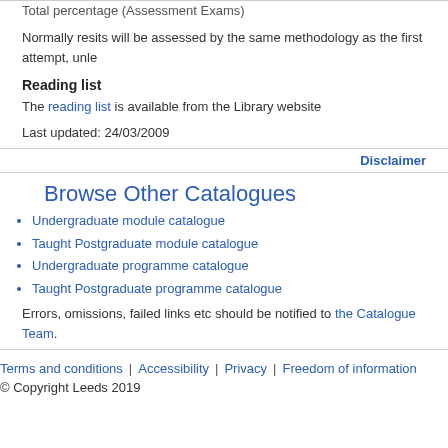Total percentage (Assessment Exams)
Normally resits will be assessed by the same methodology as the first attempt, unle
Reading list
The reading list is available from the Library website
Last updated: 24/03/2009
Disclaimer
Browse Other Catalogues
Undergraduate module catalogue
Taught Postgraduate module catalogue
Undergraduate programme catalogue
Taught Postgraduate programme catalogue
Errors, omissions, failed links etc should be notified to the Catalogue Team.
Terms and conditions | Accessibility | Privacy | Freedom of information
© Copyright Leeds 2019